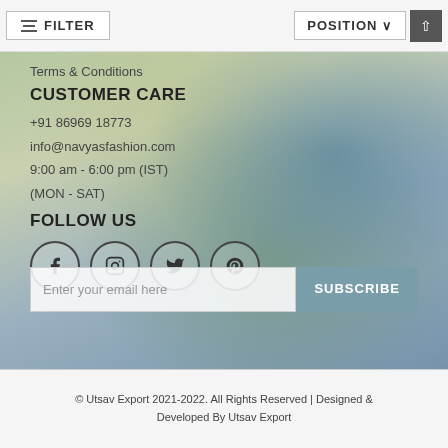FILTER   POSITION ↑
Terms & Conditions
CUSTOMER CARE
+91 86969 18773
info@navyasfashion.com
9:00 am - 6:00 pm (IST)
(MON - SAT)
FOLLOW US
[Figure (illustration): Social media icons in circles: Facebook, Instagram, Twitter, Pinterest]
Enter your email here   SUBSCRIBE
© Utsav Export 2021-2022. All Rights Reserved | Designed & Developed By Utsav Export